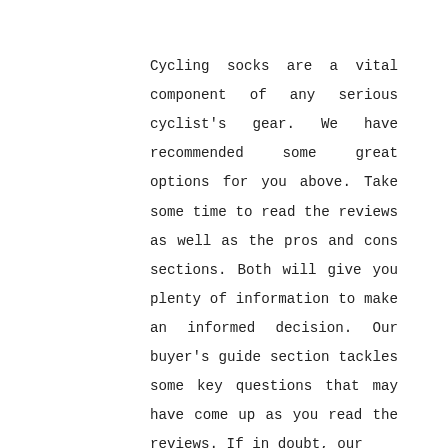Cycling socks are a vital component of any serious cyclist's gear. We have recommended some great options for you above. Take some time to read the reviews as well as the pros and cons sections. Both will give you plenty of information to make an informed decision. Our buyer's guide section tackles some key questions that may have come up as you read the reviews. If in doubt, our